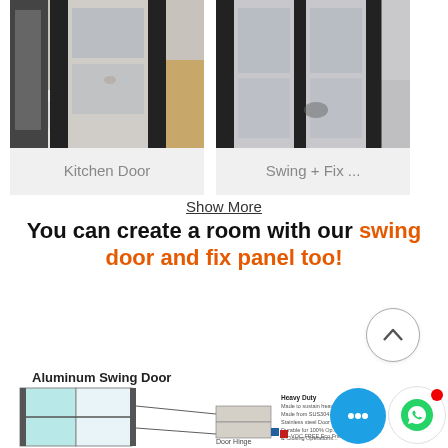[Figure (photo): Kitchen Door product photo - black framed glass door in a showroom with marble floor]
Kitchen Door
[Figure (photo): Swing + Fix panel door photo - black framed glass door open in a room with grey floor]
Swing + Fix ...
Show More
You can create a room with our swing door and fix panel too!
Aluminum Swing Door
[Figure (schematic): Aluminum swing door diagram with labels for door hinge, heavy duty specifications, VOC FREE Eco Friendly features]